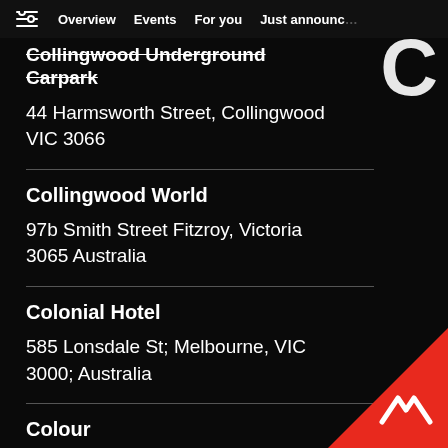Overview  Events  For you  Just announced
Collingwood Underground Carpark
44 Harmsworth Street, Collingwood VIC 3066
Collingwood World
97b Smith Street Fitzroy, Victoria 3065 Australia
Colonial Hotel
585 Lonsdale St; Melbourne, VIC 3000; Australia
Colour